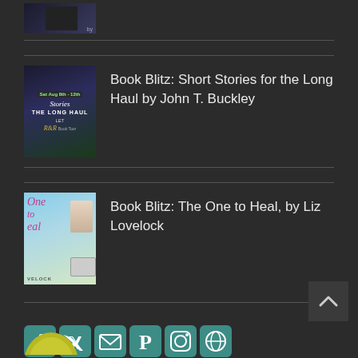[Figure (illustration): Small book cover partially visible at top of page]
Book Blitz: Short Stories for the Long Haul by John T. Buckley
Book Blitz: The One to Heal, by Liz Lovelock
[Figure (illustration): Social media icons: Facebook, Twitter, Email, Pinterest, Instagram, Globe]
[Figure (illustration): Back to top arrow button]
[Figure (illustration): Partial circular image at bottom left]